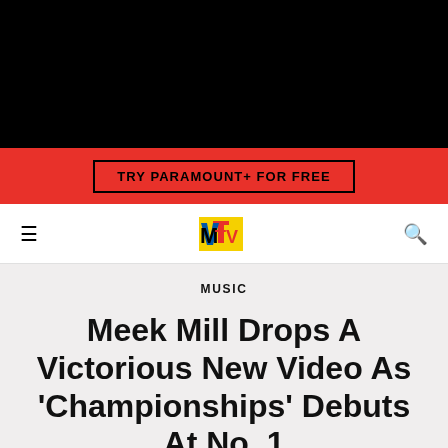[Figure (other): Black banner/hero image area at top of MTV webpage]
TRY PARAMOUNT+ FOR FREE
MTV navigation bar with hamburger menu, MTV logo, and search icon
MUSIC
Meek Mill Drops A Victorious New Video As 'Championships' Debuts At No. 1
□□□